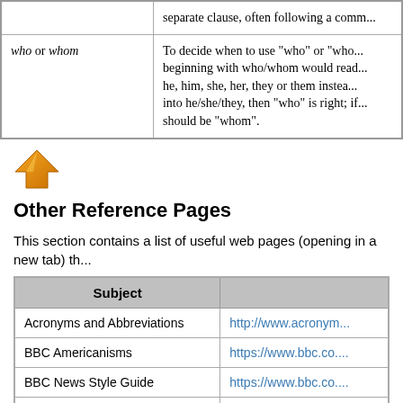|  |  |
| --- | --- |
| who or whom | To decide when to use "who" or "who... beginning with who/whom would read... he, him, she, her, they or them instead... into he/she/they, then "who" is right; if... should be "whom". |
[Figure (illustration): Orange upward-pointing arrow icon]
Other Reference Pages
This section contains a list of useful web pages (opening in a new tab) th...
| Subject |  |
| --- | --- |
| Acronyms and Abbreviations | http://www.acronym... |
| BBC Americanisms | https://www.bbc.co.... |
| BBC News Style Guide | https://www.bbc.co.... |
| BBC News Style Guide (Searchable Version) | https://www.bbc.co.... |